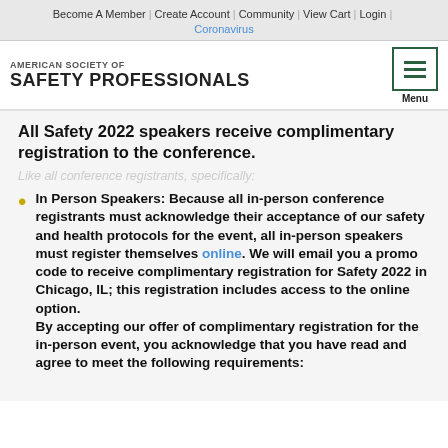Become A Member | Create Account | Community | View Cart | Login | Coronavirus
[Figure (logo): American Society of Safety Professionals logo with menu button]
All Safety 2022 speakers receive complimentary registration to the conference.
Like all conference registrants, specifically:
In Person Speakers: Because all in-person conference registrants must acknowledge their acceptance of our safety and health protocols for the event, all in-person speakers must register themselves online. We will email you a promo code to receive complimentary registration for Safety 2022 in Chicago, IL; this registration includes access to the online option.
By accepting our offer of complimentary registration for the in-person event, you acknowledge that you have read and agree to meet the following requirements: